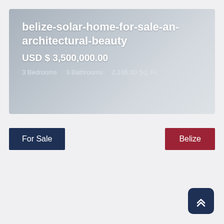belize-solar-home-for-sale-an-architectural-beauty
USD $3,500,000.00
3 Bedrooms | 3 Bathrooms | 2,186.00 Sq. Ft.
For Sale
Belize
[Figure (other): Scroll-to-top button arrow icon]